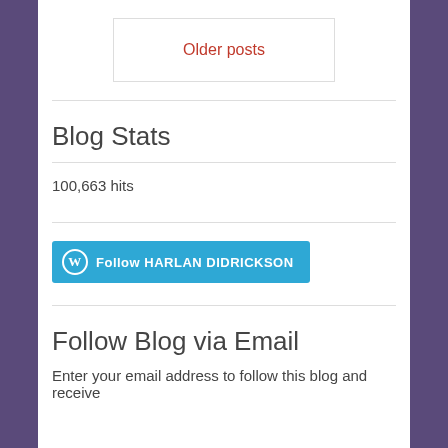Older posts
Blog Stats
100,663 hits
[Figure (other): Follow HARLAN DIDRICKSON button with WordPress logo]
Follow Blog via Email
Enter your email address to follow this blog and receive